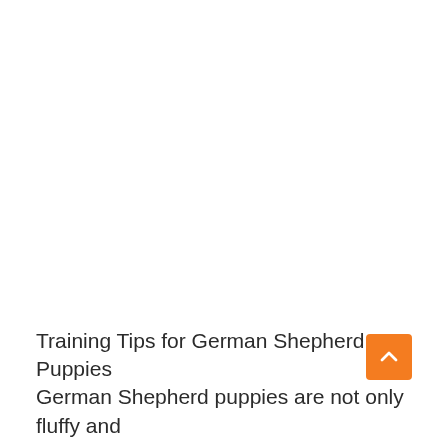[Figure (other): Orange square button with white upward-pointing chevron arrow (back to top button), positioned in the lower-right area of the page]
Training Tips for German Shepherd Puppies German Shepherd puppies are not only fluffy and